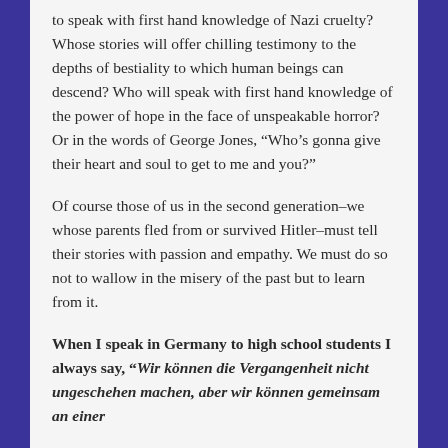to speak with first hand knowledge of Nazi cruelty? Whose stories will offer chilling testimony to the depths of bestiality to which human beings can descend? Who will speak with first hand knowledge of the power of hope in the face of unspeakable horror? Or in the words of George Jones, “Who’s gonna give their heart and soul to get to me and you?”
Of course those of us in the second generation–we whose parents fled from or survived Hitler–must tell their stories with passion and empathy. We must do so not to wallow in the misery of the past but to learn from it.
When I speak in Germany to high school students I always say, “Wir können die Vergangenheit nicht ungeschehen machen, aber wir können gemeinsam an einer